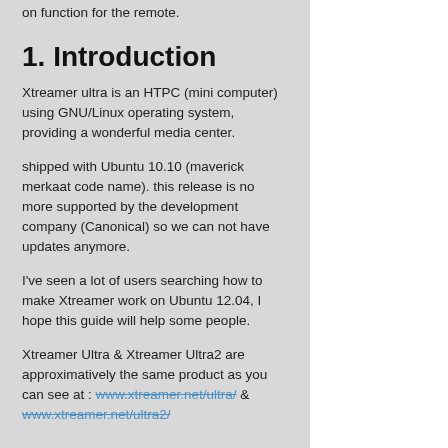on function for the remote.
1. Introduction
Xtreamer ultra is an HTPC (mini computer) using GNU/Linux operating system, providing a wonderful media center.
shipped with Ubuntu 10.10 (maverick merkaat code name). this release is no more supported by the development company (Canonical) so we can not have updates anymore.
I've seen a lot of users searching how to make Xtreamer work on Ubuntu 12.04, I hope this guide will help some people.
Xtreamer Ultra & Xtreamer Ultra2 are approximatively the same product as you can see at : www.xtreamer.net/ultra/ & www.xtreamer.net/ultra2/